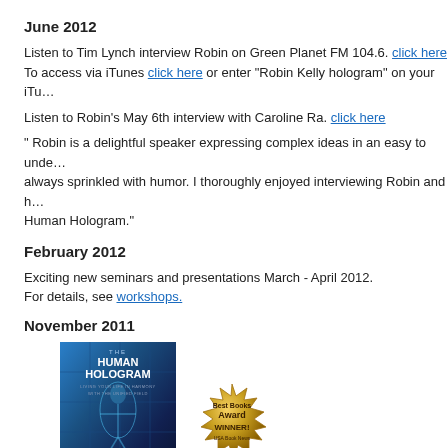June 2012
Listen to Tim Lynch interview Robin on Green Planet FM 104.6. click here
To access via iTunes click here or enter "Robin Kelly hologram" on your iTu…
Listen to Robin's May 6th interview with Caroline Ra. click here
" Robin is a delightful speaker expressing complex ideas in an easy to unde… always sprinkled with humor. I thoroughly enjoyed interviewing Robin and h… Human Hologram."
February 2012
Exciting new seminars and presentations March - April 2012.
For details, see workshops.
November 2011
[Figure (photo): Book cover of 'The Human Hologram' by Dr. Robin Kelly, with a Best Books Award Winner USA Book News gold badge beside it.]